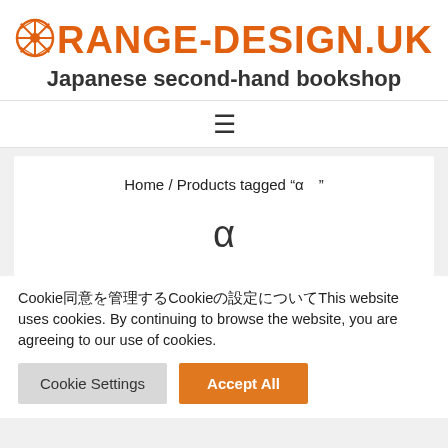ORANGE-DESIGN.UK Japanese second-hand bookshop
[Figure (other): Hamburger menu icon (three horizontal lines)]
Home / Products tagged “α　”
α
Cookieの利用についてCookieの利用についてThis website uses cookies. By continuing to browse the website, you are agreeing to our use of cookies.
Cookie Settings | Accept All